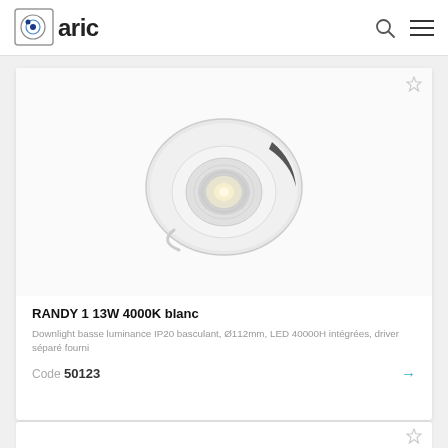[Figure (logo): Aric brand logo with circular icon and bold 'aric' text]
[Figure (photo): White recessed downlight (RANDY 1) ceiling fixture, tilted/adjustable, shot from above on white background]
RANDY 1 13W 4000K blanc
Downlight basse luminance IP20 basculant, Ø112mm, LED 40000H intégrées, driver séparé fourni
Code 50123